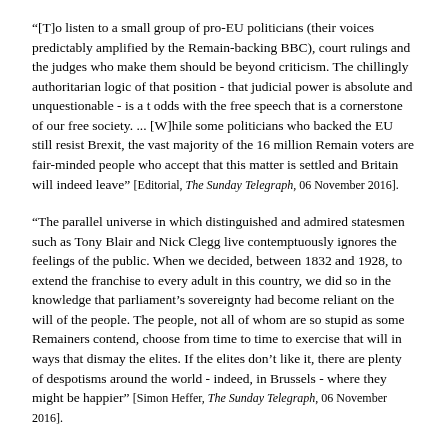"[T]o listen to a small group of pro-EU politicians (their voices predictably amplified by the Remain-backing BBC), court rulings and the judges who make them should be beyond criticism. The chillingly authoritarian logic of that position - that judicial power is absolute and unquestionable - is a t odds with the free speech that is a cornerstone of our free society. ... [W]hile some politicians who backed the EU still resist Brexit, the vast majority of the 16 million Remain voters are fair-minded people who accept that this matter is settled and Britain will indeed leave" [Editorial, The Sunday Telegraph, 06 November 2016].
"The parallel universe in which distinguished and admired statesmen such as Tony Blair and Nick Clegg live contemptuously ignores the feelings of the public. When we decided, between 1832 and 1928, to extend the franchise to every adult in this country, we did so in the knowledge that parliament's sovereignty had become reliant on the will of the people. The people, not all of whom are so stupid as some Remainers contend, choose from time to time to exercise that will in ways that dismay the elites. If the elites don't like it, there are plenty of despotisms around the world - indeed, in Brussels - where they might be happier" [Simon Heffer, The Sunday Telegraph, 06 November 2016].
"The notion that this case was a school-prefect-style stab for a clean, constitutional Brexit is shot down by the fact that it was brought by devoted Remainers. The super-wealthy spearhead of the case, Gina Miller, says she was made 'physically sick' by Brexit. She says the dim-witted decision to leave the EU, taken by 17.4m people, is a